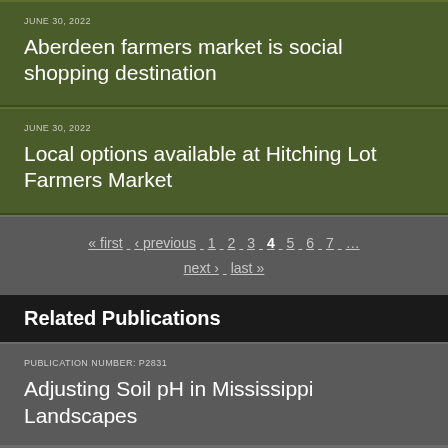JUNE 30, 2022
Aberdeen farmers market is social shopping destination
JUNE 30, 2022
Local options available at Hitching Lot Farmers Market
« first  ‹ previous  1  2  3  4  5  6  7  ...  next ›  last »
Related Publications
PUBLICATION NUMBER: P2831
Adjusting Soil pH in Mississippi Landscapes
PUBLICATION NUMBER: P2509